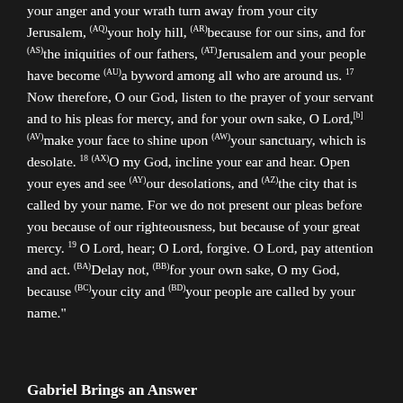your anger and your wrath turn away from your city Jerusalem, (AQ)your holy hill, (AR)because for our sins, and for (AS)the iniquities of our fathers, (AT)Jerusalem and your people have become (AU)a byword among all who are around us. 17 Now therefore, O our God, listen to the prayer of your servant and to his pleas for mercy, and for your own sake, O Lord,[b] (AV)make your face to shine upon (AW)your sanctuary, which is desolate. 18 (AX)O my God, incline your ear and hear. Open your eyes and see (AY)our desolations, and (AZ)the city that is called by your name. For we do not present our pleas before you because of our righteousness, but because of your great mercy. 19 O Lord, hear; O Lord, forgive. O Lord, pay attention and act. (BA)Delay not, (BB)for your own sake, O my God, because (BC)your city and (BD)your people are called by your name."
Gabriel Brings an Answer